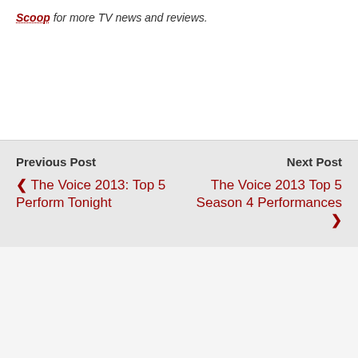Scoop for more TV news and reviews.
Previous Post: The Voice 2013: Top 5 Perform Tonight
Next Post: The Voice 2013 Top 5 Season 4 Performances